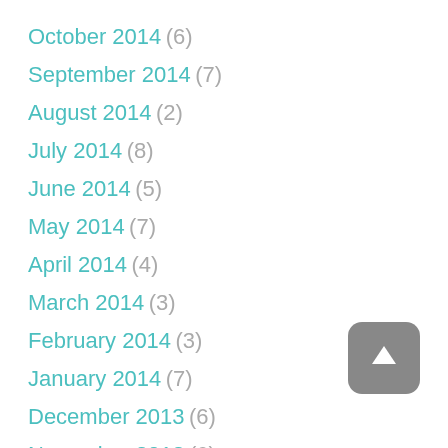October 2014 (6)
September 2014 (7)
August 2014 (2)
July 2014 (8)
June 2014 (5)
May 2014 (7)
April 2014 (4)
March 2014 (3)
February 2014 (3)
January 2014 (7)
December 2013 (6)
November 2013 (6)
October 2013 (6)
[Figure (other): Scroll-to-top button with upward arrow icon]